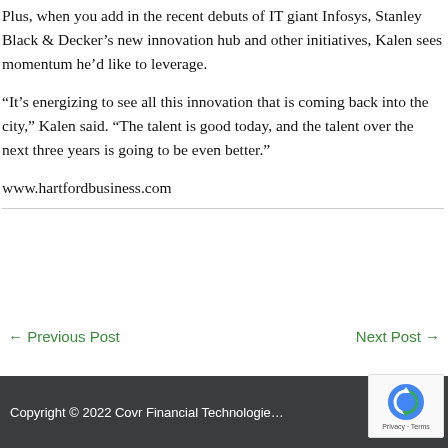Plus, when you add in the recent debuts of IT giant Infosys, Stanley Black & Decker’s new innovation hub and other initiatives, Kalen sees momentum he’d like to leverage.
“It’s energizing to see all this innovation that is coming back into the city,” Kalen said. “The talent is good today, and the talent over the next three years is going to be even better.”
www.hartfordbusiness.com
← Previous Post
Next Post →
Copyright © 2022 Covr Financial Technologies